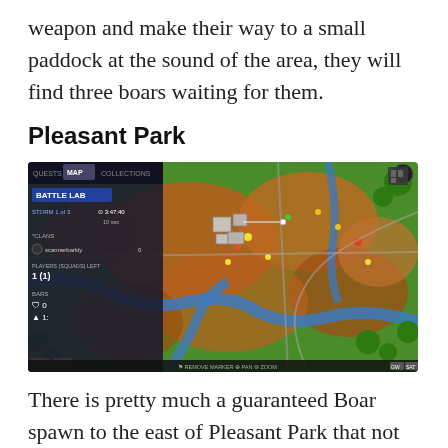weapon and make their way to a small paddock at the sound of the area, they will find three boars waiting for them.
Pleasant Park
[Figure (screenshot): A screenshot of the Fortnite game map (Battle Lab mode) showing the in-game map interface with a colorful aerial view of the island. The UI panel on the left shows BATTLE LAB, STORM 1 of 3, timer 3:47:40, 10 sec, CLUBS, scannerbarkly, PLAYERS (SQUADS) LEFT 1 (1), bars 0 and 1. The map shows green and orange terrain with rivers, roads, and building locations visible.]
There is pretty much a guaranteed Boar spawn to the east of Pleasant Park that not many players